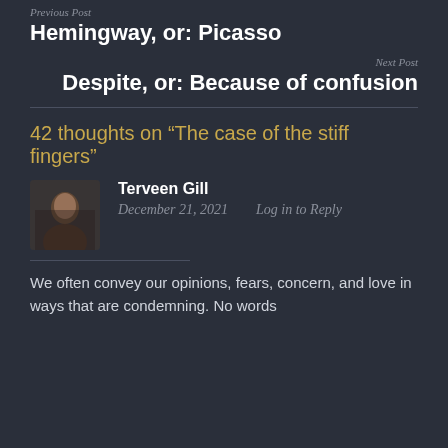Previous Post
Hemingway, or: Picasso
Next Post
Despite, or: Because of confusion
42 thoughts on “The case of the stiff fingers”
Terveen Gill
December 21, 2021   Log in to Reply
We often convey our opinions, fears, concern, and love in ways that are condemning. No words